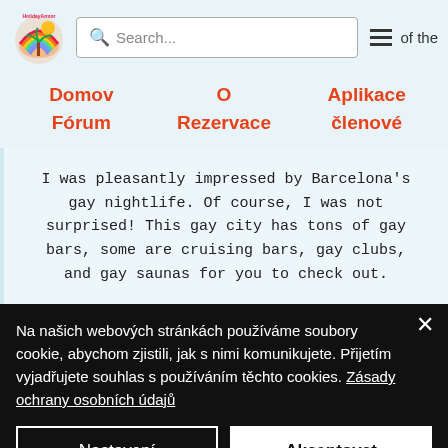[Figure (logo): HolidayArmor logo with rainbow and tropical scene]
Search...  ☰  of the
Domov
O
Aplikace
Fórum
Rezervace
členové
I was pleasantly impressed by Barcelona's gay nightlife. Of course, I was not surprised! This gay city has tons of gay bars, some are cruising bars, gay clubs, and gay saunas for you to check out.
Na našich webových stránkách používáme soubory cookie, abychom zjistili, jak s nimi komunikujete. Přijetím vyjadřujete souhlas s používáním těchto cookies. Zásady ochrany osobních údajů
Nastavení
Akceptovat